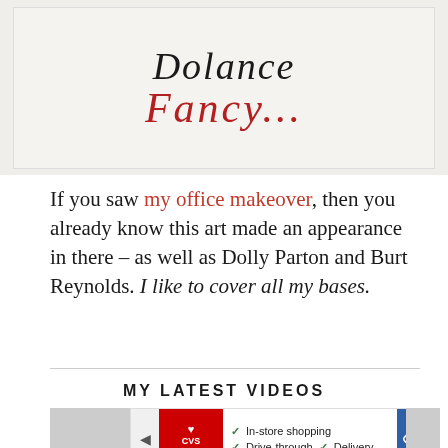[Figure (photo): A framed art piece on an off-white background showing cursive black script text (partially cut off at top) and red cursive text reading 'Fancy...']
If you saw my office makeover, then you already know this art made an appearance in there – as well as Dolly Parton and Burt Reynolds. I like to cover all my bases.
MY LATEST VIDEOS
[Figure (screenshot): CVS Pharmacy advertisement banner showing In-store shopping, Drive-through, and Delivery checkmarks with a navigation/directions icon]